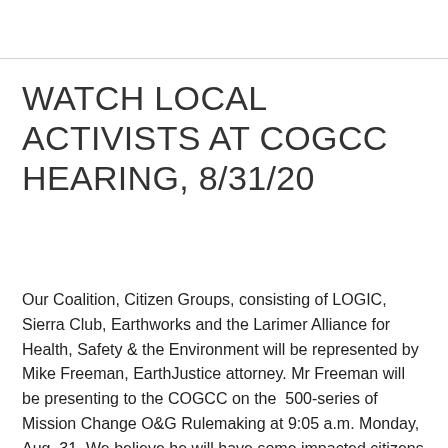WATCH LOCAL ACTIVISTS AT COGCC HEARING, 8/31/20
Our Coalition, Citizen Groups, consisting of LOGIC, Sierra Club, Earthworks and the Larimer Alliance for Health, Safety & the Environment will be represented by Mike Freeman, EarthJustice attorney. Mr Freeman will be presenting to the COGCC on the 500-series of Mission Change O&G Rulemaking at 9:05 a.m. Monday, Aug. 31. We believe he will have some impacted citizens present, as well.